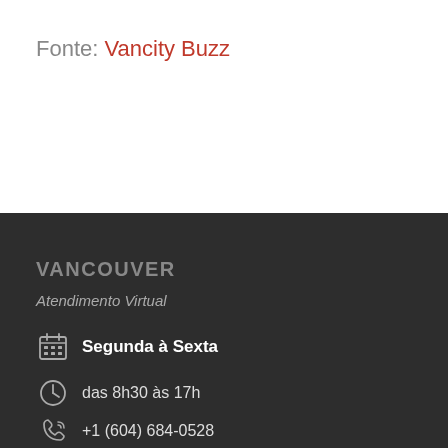Fonte: Vancity Buzz
VANCOUVER
Atendimento Virtual
Segunda à Sexta
das 8h30 às 17h
+1 (604) 684-0528